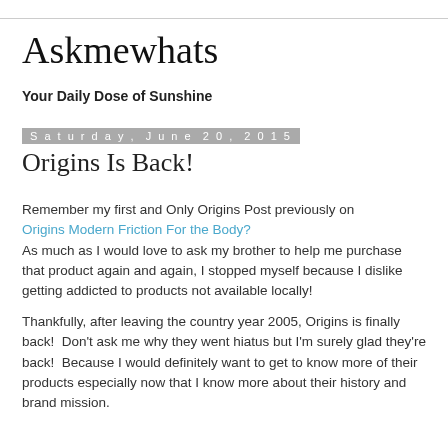Askmewhats
Your Daily Dose of Sunshine
Saturday, June 20, 2015
Origins Is Back!
Remember my first and Only Origins Post previously on Origins Modern Friction For the Body? As much as I would love to ask my brother to help me purchase that product again and again, I stopped myself because I dislike getting addicted to products not available locally!
Thankfully, after leaving the country year 2005, Origins is finally back!  Don't ask me why they went hiatus but I'm surely glad they're back!  Because I would definitely want to get to know more of their products especially now that I know more about their history and brand mission.